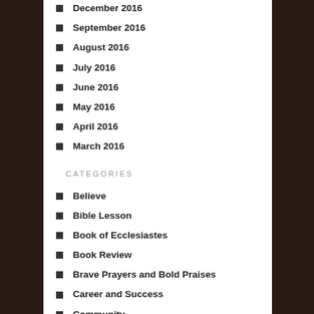December 2016
September 2016
August 2016
July 2016
June 2016
May 2016
April 2016
March 2016
CATEGORIES
Believe
Bible Lesson
Book of Ecclesiastes
Book Review
Brave Prayers and Bold Praises
Career and Success
Community
Community Resources
Creative Bible Journaling
Doubt
E-devotional book by themes